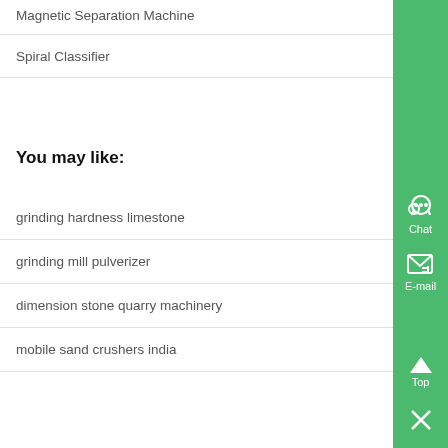Magnetic Separation Machine
Spiral Classifier
You may like:
grinding hardness limestone
grinding mill pulverizer
dimension stone quarry machinery
mobile sand crushers india